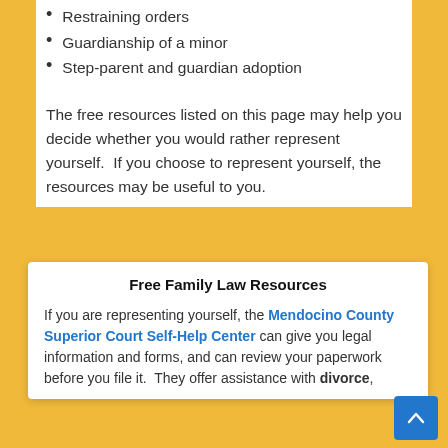Restraining orders
Guardianship of a minor
Step-parent and guardian adoption
The free resources listed on this page may help you decide whether you would rather represent yourself.  If you choose to represent yourself, the resources may be useful to you.
Free Family Law Resources
If you are representing yourself, the Mendocino County Superior Court Self-Help Center can give you legal information and forms, and can review your paperwork before you file it.  They offer assistance with divorce,